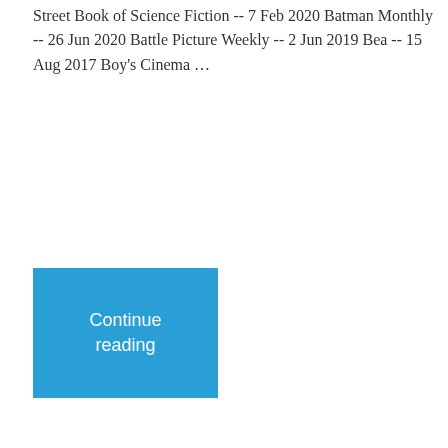Street Book of Science Fiction -- 7 Feb 2020 Batman Monthly -- 26 Jun 2020 Battle Picture Weekly -- 2 Jun 2019 Bea -- 15 Aug 2017 Boy's Cinema …
Continue reading
Leave a comment   August 21, 2020   1 Minute
Comics on TV: Life on Mars
[Figure (photo): Black and white photo of a person, partially cropped, visible from roughly chin to top of head]